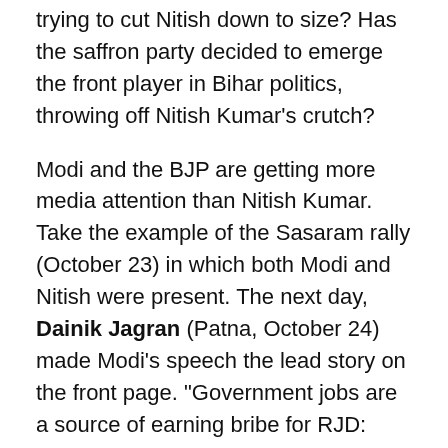trying to cut Nitish down to size? Has the saffron party decided to emerge the front player in Bihar politics, throwing off Nitish Kumar's crutch?
Modi and the BJP are getting more media attention than Nitish Kumar. Take the example of the Sasaram rally (October 23) in which both Modi and Nitish were present. The next day, Dainik Jagran (Patna, October 24) made Modi's speech the lead story on the front page. "Government jobs are a source of earning bribe for RJD: Modi" (Sarkari naukariyan Rajd ke liye rishwat kamane ka zariya: Modi).
Remember that NDA's main opposition, the 'Mahagathbandhan' led by RJD leader Tejashwi Yadav, had promised to approve 10 lakh jobs in